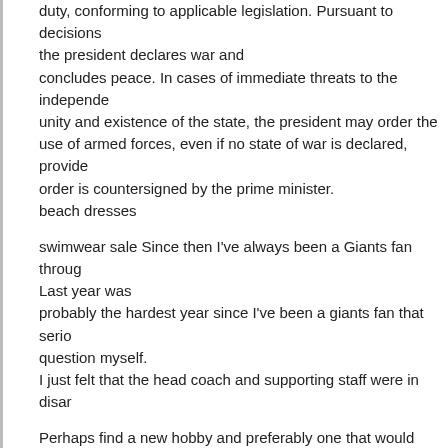duty, conforming to applicable legislation. Pursuant to decisions the president declares war and concludes peace. In cases of immediate threats to the independence, unity and existence of the state, the president may order the use of armed forces, even if no state of war is declared, provided order is countersigned by the prime minister.
beach dresses
swimwear sale Since then I've always been a Giants fan through. Last year was probably the hardest year since I've been a giants fan that seriously question myself. I just felt that the head coach and supporting staff were in disarray.
Perhaps find a new hobby and preferably one that would involve interaction with other people. Gardening, relaxation, reading, writing, pilates, cookery and religion are some examples of interests that hold groups or classes that you can join. The list is endless..
swimwear sale
Sexy Bikini Swimsuit The little girl Candy could barely...